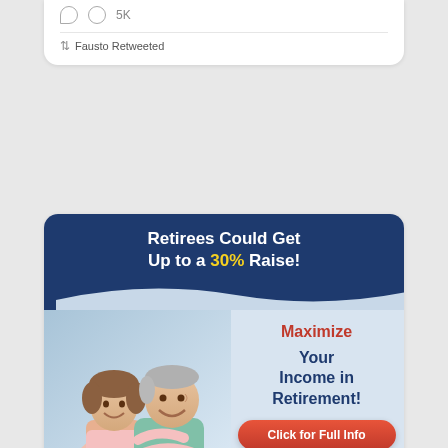[Figure (screenshot): Partial Twitter/social media card showing comment and like icons with '5K' count, and a 'Fausto Retweeted' label at the bottom]
[Figure (infographic): Crown Atlantic advertisement banner. Header: 'Retirees Could Get Up to a 30% Raise!' (30% in yellow). Lower section shows a smiling older couple on the left. Right side has text: 'Maximize Your Income in Retirement!' with a red 'Click for Full Info' button and Crown Atlantic logo at the bottom.]